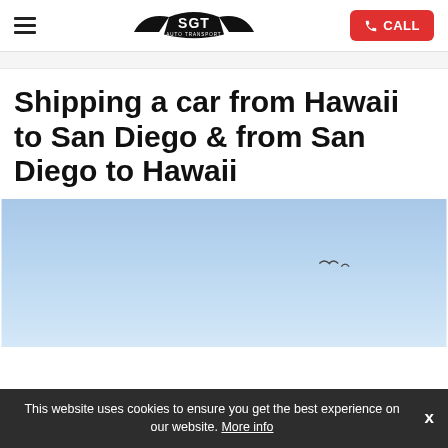SGT AUTO TRANSPORT — navigation header with hamburger menu and CALL button
Shipping a car from Hawaii to San Diego & from San Diego to Hawaii
[Figure (photo): Sky photo with light blue gradient and two birds flying in the distance]
This website uses cookies to ensure you get the best experience on our website. More info